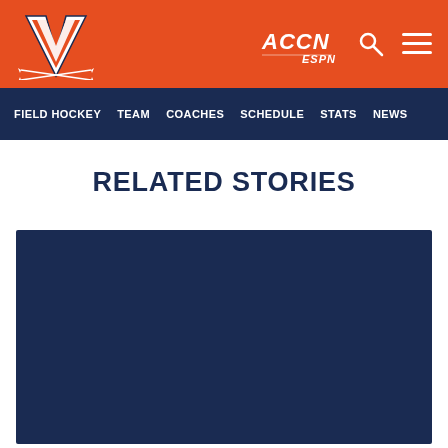UVA Athletics - Field Hockey - ACCN ESPN header with navigation: FIELD HOCKEY, TEAM, COACHES, SCHEDULE, STATS, NEWS
RELATED STORIES
[Figure (photo): Navy blue placeholder card for a related story image]